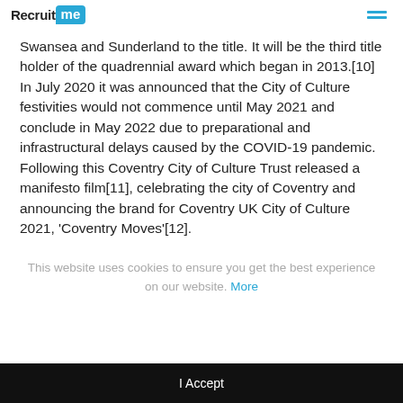RecruitMe
Swansea and Sunderland to the title. It will be the third title holder of the quadrennial award which began in 2013.[10] In July 2020 it was announced that the City of Culture festivities would not commence until May 2021 and conclude in May 2022 due to preparational and infrastructural delays caused by the COVID-19 pandemic. Following this Coventry City of Culture Trust released a manifesto film[11], celebrating the city of Coventry and announcing the brand for Coventry UK City of Culture 2021, 'Coventry Moves'[12].
This website uses cookies to ensure you get the best experience on our website. More
I Accept